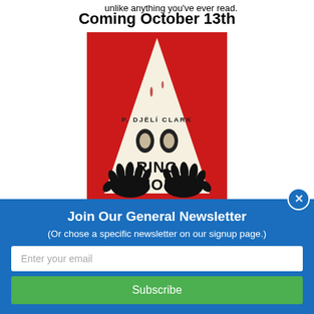unlike anything you've ever read.
Coming October 13th
[Figure (illustration): Book cover of 'Ring Shout' by P. Djèlí Clark. Red background with a large white pointed shape (resembling a Klan hood) that has two dark oval eye-holes. Two black hands reach up from below, cradling the shape. The author name 'P. DJÈLÍ CLARK' is printed in the upper middle of the shape, and 'RING SHOUT' is printed in large bold letters in the center of the shape.]
Join Our General Newsletter
(Or chose a specific newsletter on our signup page.)
Enter your email
Subscribe